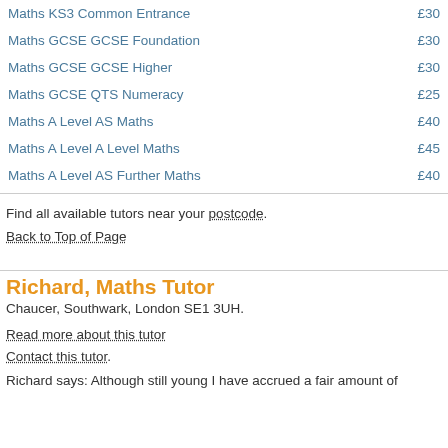Maths KS3 Common Entrance  £30
Maths GCSE GCSE Foundation  £30
Maths GCSE GCSE Higher  £30
Maths GCSE QTS Numeracy  £25
Maths A Level AS Maths  £40
Maths A Level A Level Maths  £45
Maths A Level AS Further Maths  £40
Find all available tutors near your postcode.
Back to Top of Page
Richard, Maths Tutor
Chaucer, Southwark, London SE1 3UH.
Read more about this tutor
Contact this tutor.
Richard says: Although still young I have accrued a fair amount of